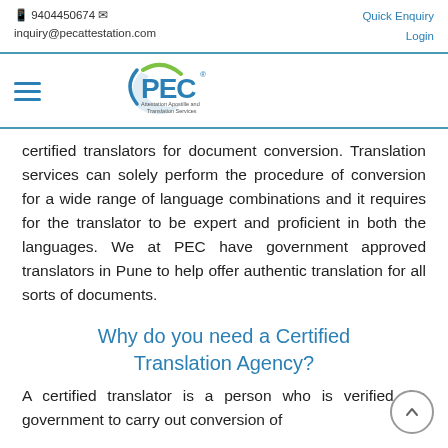📱 9404450674 ✉  inquiry@pecattestation.com   Quick Enquiry  Login
[Figure (logo): PEC logo with tagline 'Attestation Apostille and Translation Services' and green swoosh]
certified translators for document conversion. Translation services can solely perform the procedure of conversion for a wide range of language combinations and it requires for the translator to be expert and proficient in both the languages. We at PEC have government approved translators in Pune to help offer authentic translation for all sorts of documents.
Why do you need a Certified Translation Agency?
A certified translator is a person who is verified the government to carry out conversion of